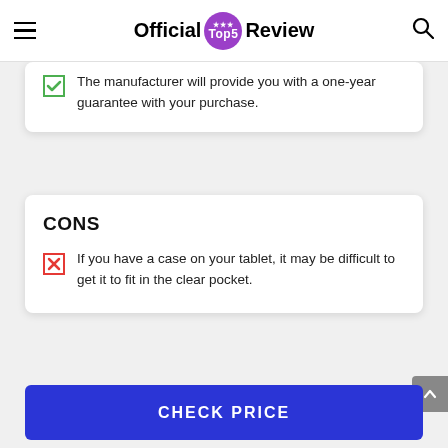Official Top5 Review
The manufacturer will provide you with a one-year guarantee with your purchase.
CONS
If you have a case on your tablet, it may be difficult to get it to fit in the clear pocket.
CHECK PRICE